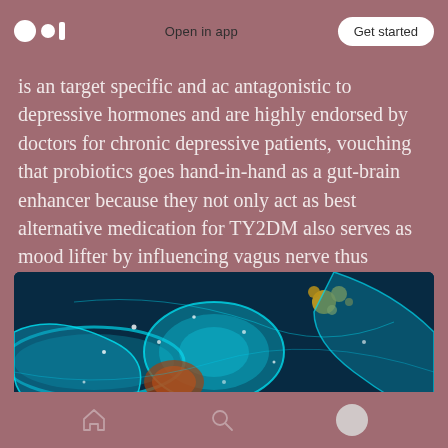Open in app | Get started
is an target specific and ac antagonistic to depressive hormones and are highly endorsed by doctors for chronic depressive patients, vouching that probiotics goes hand-in-hand as a gut-brain enhancer because they not only act as best alternative medication for TY2DM also serves as mood lifter by influencing vagus nerve thus improves gradual recovery from PTSD disorders.
[Figure (photo): Microscopic or scientific visualization image showing glowing cyan/teal colored neural or biological structures against a dark blue background, with yellow/gold granular elements visible]
Home | Search | Profile